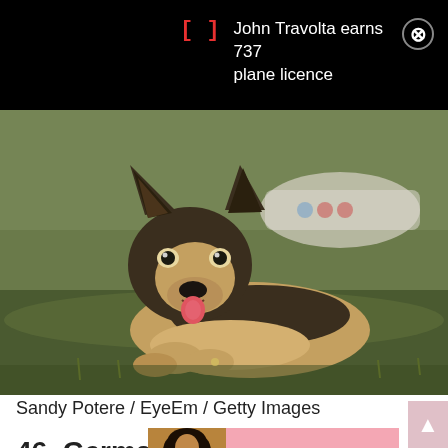John Travolta earns 737 plane licence
[Figure (photo): German Shepherd puppy lying on grass with tongue out, looking at camera. Blurred background with a vehicle.]
Sandy Potere / EyeEm / Getty Images
46. German shepherds are
beau
[Figure (advertisement): Victoria's Secret advertisement banner: model photo, VS logo, 'SHOP THE COLLECTION', 'SHOP NOW' button on pink background. 'CLOSE' button above.]